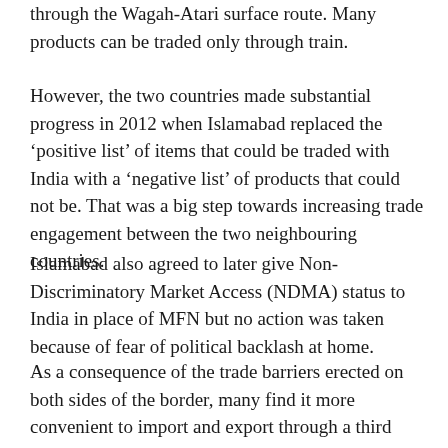through the Wagah-Atari surface route. Many products can be traded only through train.
However, the two countries made substantial progress in 2012 when Islamabad replaced the ‘positive list’ of items that could be traded with India with a ‘negative list’ of products that could not be. That was a big step towards increasing trade engagement between the two neighbouring countries.
Islamabad also agreed to later give Non-Discriminatory Market Access (NDMA) status to India in place of MFN but no action was taken because of fear of political backlash at home.
As a consequence of the trade barriers erected on both sides of the border, many find it more convenient to import and export through a third country, mostly via Dubai and Singapore. The trade volume via third country is estimated by many to be in the range of $2-5bn.